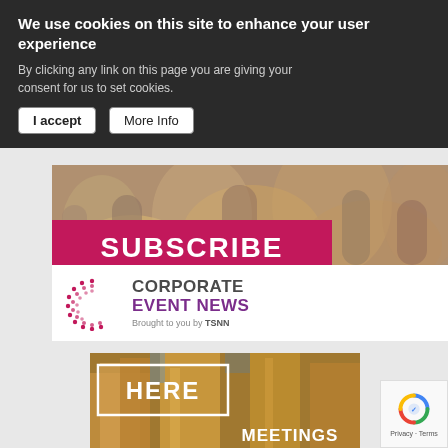We use cookies on this site to enhance your user experience
By clicking any link on this page you are giving your consent for us to set cookies.
I accept
More Info
[Figure (photo): Crowd of people at an event with a pink SUBSCRIBE banner and Corporate Event News logo brought to you by TSNN]
[Figure (photo): Aerial view of Las Vegas buildings with HERE label and MEETINGS text overlay, reCAPTCHA badge bottom right]